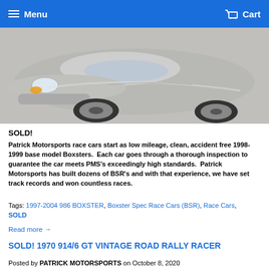Menu   Cart
[Figure (photo): Silver Porsche Boxster sports car, front three-quarter view, on a gray surface]
SOLD!
Patrick Motorsports race cars start as low mileage, clean, accident free 1998-1999 base model Boxsters.  Each car goes through a thorough inspection to guarantee the car meets PMS's exceedingly high standards.  Patrick Motorsports has built dozens of BSR's and with that experience, we have set track records and won countless races.
Tags: 1997-2004 986 BOXSTER, Boxster Spec Race Cars (BSR), Race Cars, SOLD
Read more →
SOLD! 1970 914/6 GT VINTAGE ROAD RALLY RACER
Posted by PATRICK MOTORSPORTS on October 8, 2020